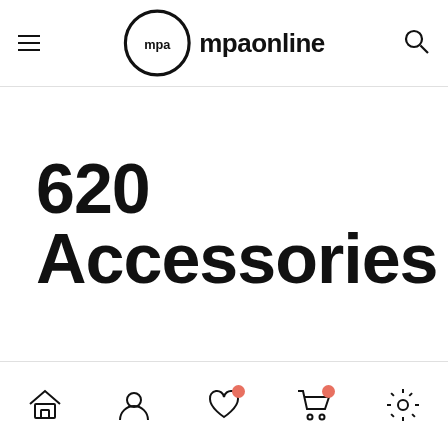mpaonline
620 Accessories
Home | Account | Wishlist | Cart | Settings